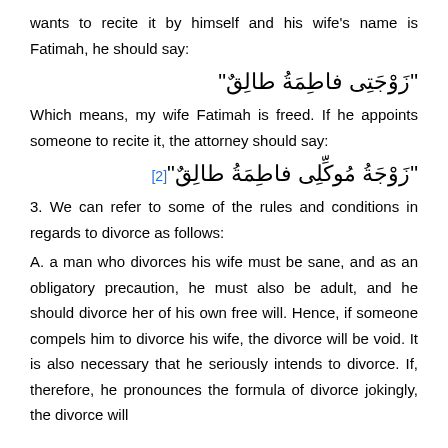wants to recite it by himself and his wife's name is Fatimah, he should say:
"زَوْجَتِى فاطِمَةُ طالِقٌ"
Which means, my wife Fatimah is freed. If he appoints someone to recite it, the attorney should say:
"زَوْجَةُ مُوكِّلِى فاطِمَةُ طالِقٌ"[2]
3. We can refer to some of the rules and conditions in regards to divorce as follows:
A. a man who divorces his wife must be sane, and as an obligatory precaution, he must also be adult, and he should divorce her of his own free will. Hence, if someone compels him to divorce his wife, the divorce will be void. It is also necessary that he seriously intends to divorce. If, therefore, he pronounces the formula of divorce jokingly, the divorce will